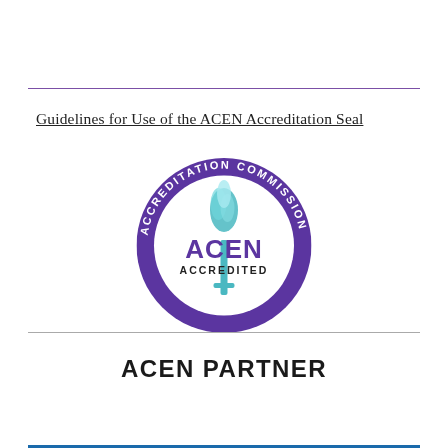Guidelines for Use of the ACEN Accreditation Seal
[Figure (logo): ACEN Accredited seal — circular purple badge with white text reading 'ACCREDITATION COMMISSION FOR EDUCATION IN NURSING' around the border, a teal torch flame at the top center, the letters 'ACEN' in large purple text, and 'ACCREDITED' below in black text.]
ACEN PARTNER